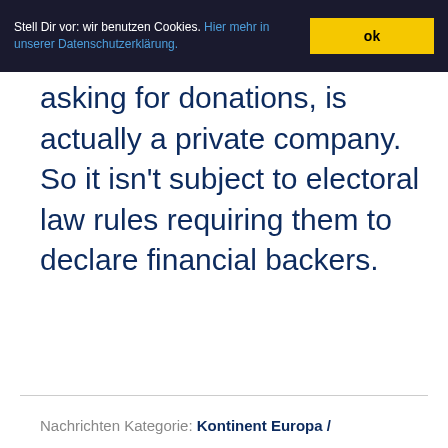Stell Dir vor: wir benutzen Cookies. Hier mehr in unserer Datenschutzerklärung. ok
asking for donations, is actually a private company. So it isn't subject to electoral law rules requiring them to declare financial backers.
Nachrichten Kategorie: Kontinent Europa /